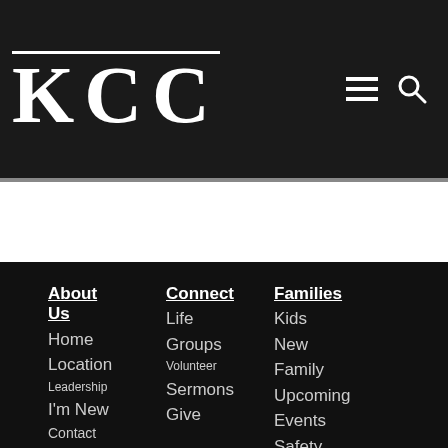KCC
About Us
Home
Location
Leadership
I'm New
Contact
Connect
Life Groups
Volunteer
Sermons
Give
Families
Kids
New Family
Upcoming Events
Safety and